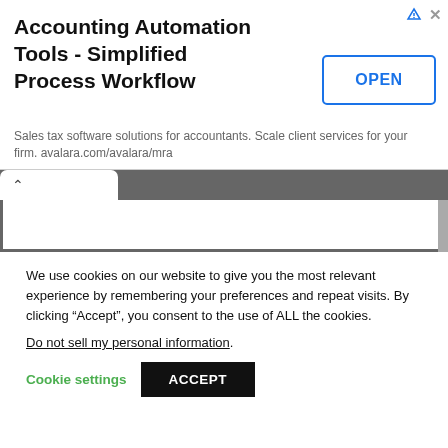[Figure (screenshot): Advertisement banner: 'Accounting Automation Tools - Simplified Process Workflow' with an OPEN button and description text about sales tax software from avalara.com/avalara/mra]
[Figure (screenshot): Browser UI chrome showing a tab with chevron/up arrow and a white content area with scrollbar on a dark grey background]
We use cookies on our website to give you the most relevant experience by remembering your preferences and repeat visits. By clicking “Accept”, you consent to the use of ALL the cookies.
Do not sell my personal information.
Cookie settings
ACCEPT